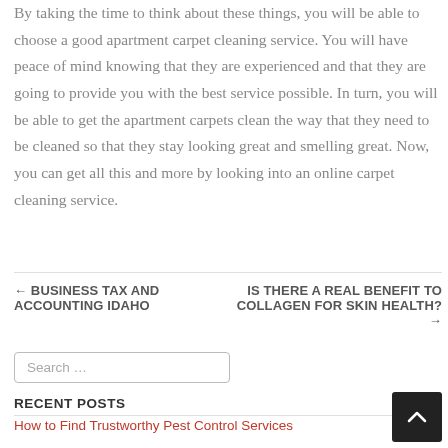By taking the time to think about these things, you will be able to choose a good apartment carpet cleaning service. You will have peace of mind knowing that they are experienced and that they are going to provide you with the best service possible. In turn, you will be able to get the apartment carpets clean the way that they need to be cleaned so that they stay looking great and smelling great. Now, you can get all this and more by looking into an online carpet cleaning service.
← BUSINESS TAX AND ACCOUNTING IDAHO
IS THERE A REAL BENEFIT TO COLLAGEN FOR SKIN HEALTH? →
Search ...
RECENT POSTS
How to Find Trustworthy Pest Control Services